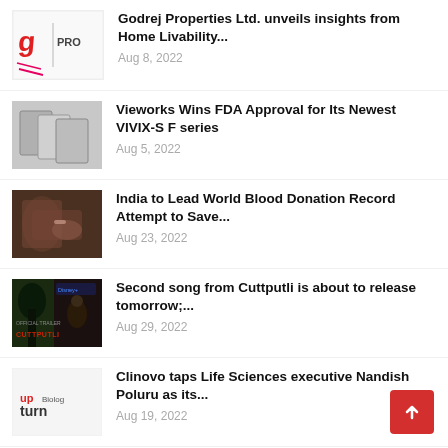Godrej Properties Ltd. unveils insights from Home Livability...
Aug 8, 2022
Vieworks Wins FDA Approval for Its Newest VIVIX-S F series
Aug 5, 2022
India to Lead World Blood Donation Record Attempt to Save...
Aug 23, 2022
Second song from Cuttputli is about to release tomorrow;...
Aug 29, 2022
Clinovo taps Life Sciences executive Nandish Poluru as its...
Aug 19, 2022